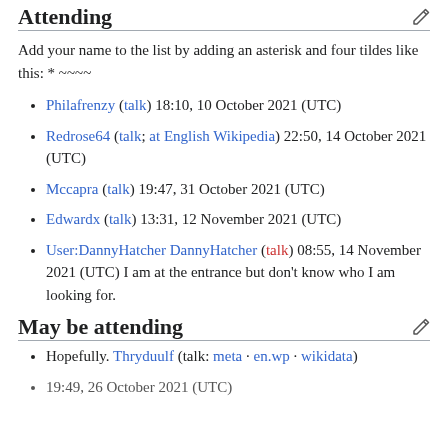Attending
Add your name to the list by adding an asterisk and four tildes like this: * ~~~~
Philafrenzy (talk) 18:10, 10 October 2021 (UTC)
Redrose64 (talk; at English Wikipedia) 22:50, 14 October 2021 (UTC)
Mccapra (talk) 19:47, 31 October 2021 (UTC)
Edwardx (talk) 13:31, 12 November 2021 (UTC)
User:DannyHatcher DannyHatcher (talk) 08:55, 14 November 2021 (UTC) I am at the entrance but don't know who I am looking for.
May be attending
Hopefully. Thryduulf (talk: meta · en.wp · wikidata) 19:49, 26 October 2021 (UTC)